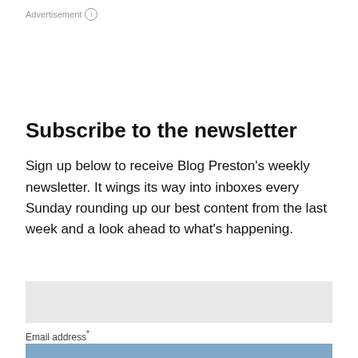Advertisement ℹ
Subscribe to the newsletter
Sign up below to receive Blog Preston's weekly newsletter. It wings its way into inboxes every Sunday rounding up our best content from the last week and a look ahead to what's happening.
Email address*
Subscribe
[Figure (photo): Dark background image with colorful neon light streaks (pink, cyan, white) on a dark navy/purple background]